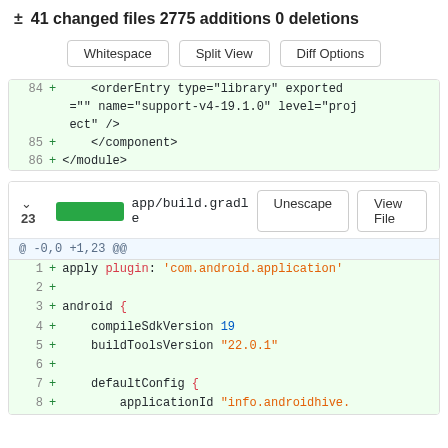± 41 changed files 2775 additions 0 deletions
Whitespace | Split View | Diff Options
84 + <orderEntry type="library" exported ="" name="support-v4-19.1.0" level="project" />
85 +     </component>
86 + </module>
v 23  app/build.gradle
@ -0,0 +1,23 @@
1 + apply plugin: 'com.android.application'
2 +
3 + android {
4 +     compileSdkVersion 19
5 +     buildToolsVersion "22.0.1"
6 +
7 +     defaultConfig {
8 +         applicationId "info.androidhive.speechtotext"